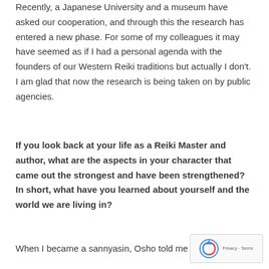Recently, a Japanese University and a museum have asked our cooperation, and through this the research has entered a new phase. For some of my colleagues it may have seemed as if I had a personal agenda with the founders of our Western Reiki traditions but actually I don't. I am glad that now the research is being taken on by public agencies.
If you look back at your life as a Reiki Master and author, what are the aspects in your character that came out the strongest and have been strengthened? In short, what have you learned about yourself and the world we are living in?
When I became a sannyasin, Osho told me to never b...